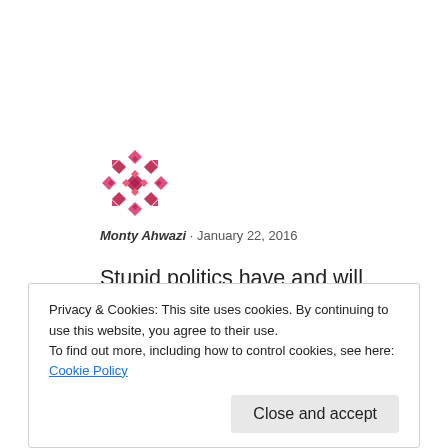[Figure (illustration): Avatar icon for user Monty Ahwazi — a red/pink geometric diamond-pattern avatar]
Monty Ahwazi · January 22, 2016
Stupid politics have and will always have unintended consequences! So sorry to see this although I never had the opportunity to visit your blog.
Liked by 1 person
Privacy & Cookies: This site uses cookies. By continuing to use this website, you agree to their use.
To find out more, including how to control cookies, see here: Cookie Policy
Close and accept